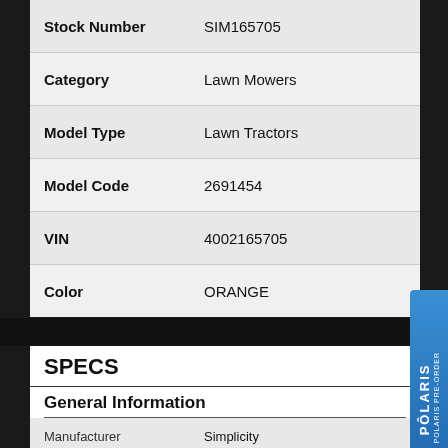| Field | Value |
| --- | --- |
| Stock Number | SIM165705 |
| Category | Lawn Mowers |
| Model Type | Lawn Tractors |
| Model Code | 2691454 |
| VIN | 4002165705 |
| Color | ORANGE |
SPECS
General Information
| Field | Value |
| --- | --- |
| Manufacturer | Simplicity |
| Model | REGENT 23HP/ 38" |
| Model Code | 2691454 |